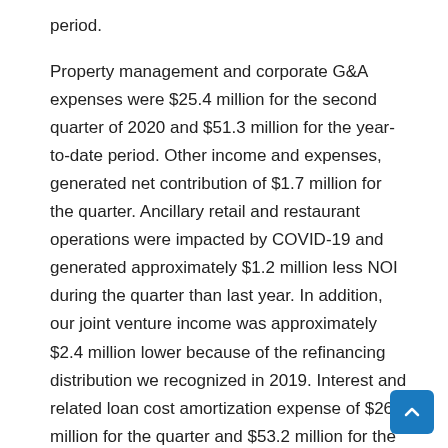period.
Property management and corporate G&A expenses were $25.4 million for the second quarter of 2020 and $51.3 million for the year-to-date period. Other income and expenses, generated net contribution of $1.7 million for the quarter. Ancillary retail and restaurant operations were impacted by COVID-19 and generated approximately $1.2 million less NOI during the quarter than last year. In addition, our joint venture income was approximately $2.4 million lower because of the refinancing distribution we recognized in 2019. Interest and related loan cost amortization expense of $26.2 million for the quarter and $53.2 million for the year-to-date period.
We included a COVID-19 update with our earnings release and supplemental financial information. All of our MH, RV and marina locations are open, though some have limited access to certain amenities pursuant to state and local guidelines. Our rent deferral